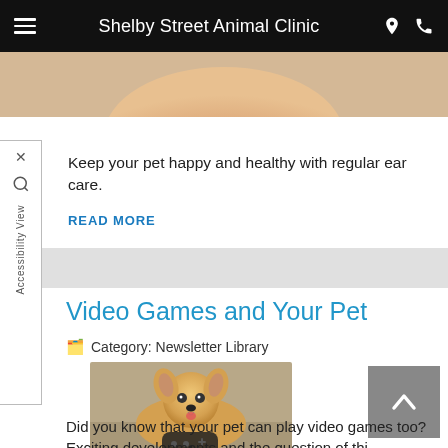Shelby Street Animal Clinic
[Figure (photo): Partially visible pet photo cropped at top of page]
Keep your pet happy and healthy with regular ear care.
READ MORE
Video Games and Your Pet
Category: Newsletter Library
[Figure (photo): Pomeranian dog holding a video game controller on carpet]
Did you know that your pet can play video games too? Exciting developments and the question of thi...